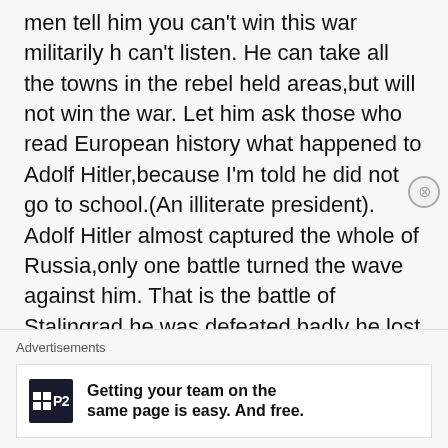men tell him you can't win this war militarily h can't listen. He can take all the towns in the rebel held areas,but will not win the war. Let him ask those who read European history what happened to Adolf Hitler,because I'm told he did not go to school.(An illiterate president). Adolf Hitler almost captured the whole of Russia,only one battle turned the wave against him. That is the battle of Stalingrad,he was defeated badly he lost a lot of man power and equipment. The same is happening with kiir he wants to capture more territory before the wet season sets
Advertisements
Getting your team on the same page is easy. And free.